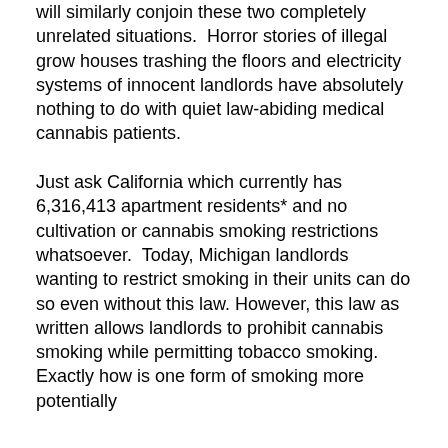will similarly conjoin these two completely unrelated situations.  Horror stories of illegal grow houses trashing the floors and electricity systems of innocent landlords have absolutely nothing to do with quiet law-abiding medical cannabis patients.

Just ask California which currently has 6,316,413 apartment residents* and no cultivation or cannabis smoking restrictions whatsoever.  Today, Michigan landlords wanting to restrict smoking in their units can do so even without this law. However, this law as written allows landlords to prohibit cannabis smoking while permitting tobacco smoking.  Exactly how is one form of smoking more potentially